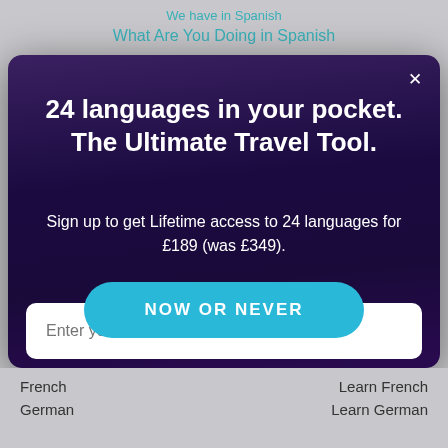We have in Spanish
What Are You Doing in Spanish
24 languages in your pocket. The Ultimate Travel Tool.
Sign up to get Lifetime access to 24 languages for £189 (was £349).
Enter your email address
By clicking "Now or never", you agree to receive offers for private customers from Rosetta Stone according to the privacy policy. You can opt-out anytime.
NOW OR NEVER
French
Learn French
German
Learn German